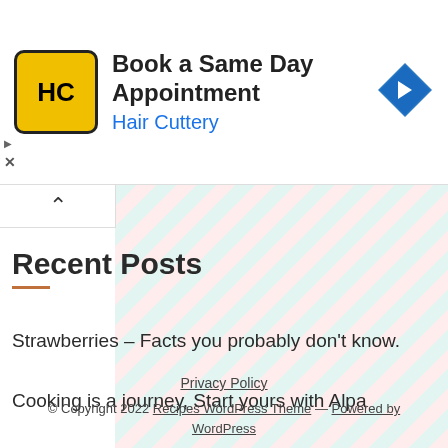[Figure (other): Hair Cuttery advertisement banner with yellow logo, text 'Book a Same Day Appointment / Hair Cuttery', and a blue diamond directional arrow icon on the right]
Recent Posts
Strawberries – Facts you probably don't know.
Cooking is a journey, Start yours with Alpa
Privacy Policy
© Copyright 2022 Recipes WordPress Theme — Powered by WordPress